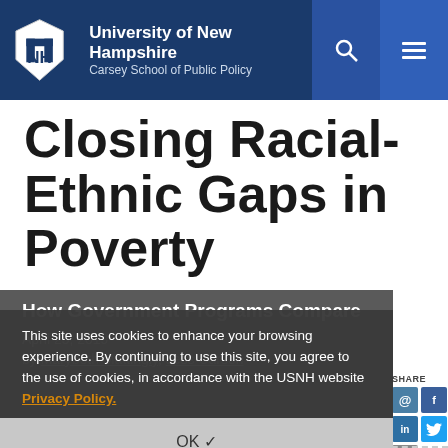University of New Hampshire Carsey School of Public Policy
Closing Racial-Ethnic Gaps in Poverty
How Government Programs Compare
April 25, 2019
by Marybeth Mattingly, Jess Carson
This site uses cookies to enhance your browsing experience. By continuing to use this site, you agree to the use of cookies, in accordance with the USNH website Privacy Policy.
OK ✓